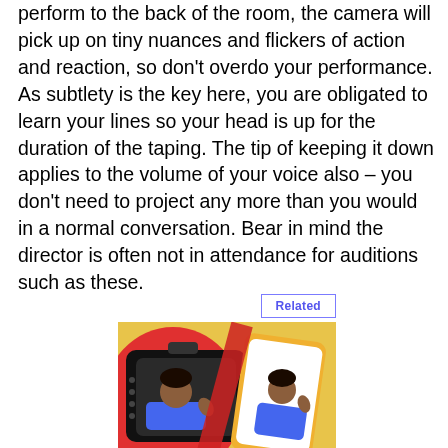perform to the back of the room, the camera will pick up on tiny nuances and flickers of action and reaction, so don't overdo your performance. As subtlety is the key here, you are obligated to learn your lines so your head is up for the duration of the taping. The tip of keeping it down applies to the volume of your voice also – you don't need to project any more than you would in a normal conversation. Bear in mind the director is often not in attendance for auditions such as these.
[Figure (illustration): Illustration showing a camera and smartphone screens displaying a young Black person performing/auditioning, set against a colorful red, yellow, and orange background.]